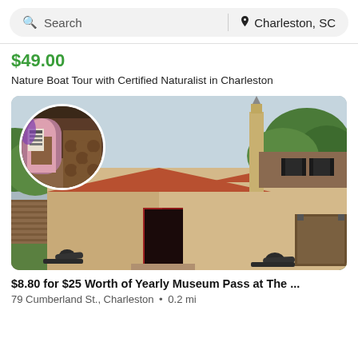Search | Charleston, SC
$49.00
Nature Boat Tour with Certified Naturalist in Charleston
[Figure (photo): Main image of a historic building with terracotta tile roof, red double doors, brick walls, cannons in the foreground, and a church steeple in the background. An inset circular photo shows a museum interior with arched displays and wooden barrels.]
$8.80 for $25 Worth of Yearly Museum Pass at The ...
79 Cumberland St., Charleston • 0.2 mi